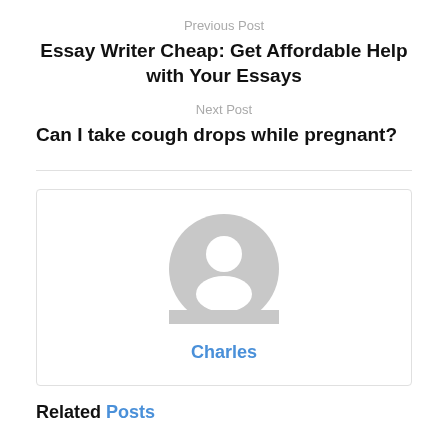Previous Post
Essay Writer Cheap: Get Affordable Help with Your Essays
Next Post
Can I take cough drops while pregnant?
[Figure (illustration): Generic user avatar icon — a grey circle with a white silhouette of a person (head and shoulders)]
Charles
Related Posts